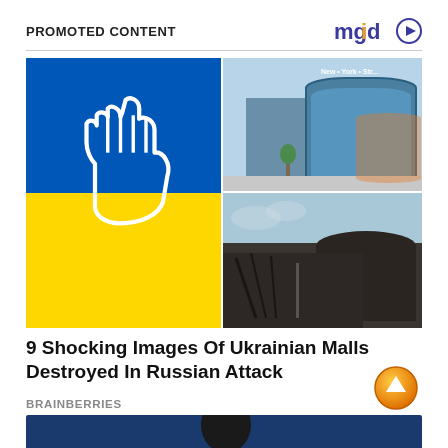PROMOTED CONTENT
[Figure (logo): mgid logo with play button]
[Figure (photo): Composite image: left panel shows Ukrainian flag colors (blue top, yellow bottom) with white fist icon; top-right panel shows a modern blue glass mall building with 'New York Street' sign; bottom-right panel shows a burned/destroyed circular building structure]
9 Shocking Images Of Ukrainian Malls Destroyed In Russian Attack
BRAINBERRIES
[Figure (photo): Bottom partial image showing a person at what appears to be a Vanity Fair event, with VTV FAIR text visible]